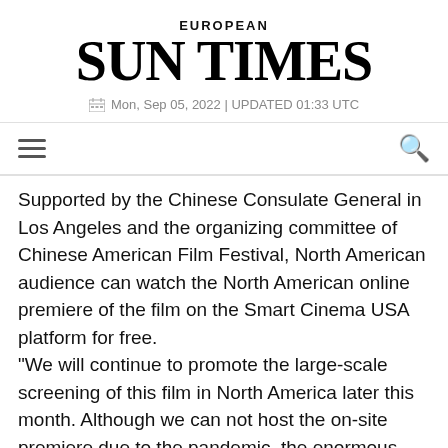EUROPEAN SUN TIMES
Mon, Sep 05, 2022 | UPDATED 01:33 UTC
Supported by the Chinese Consulate General in Los Angeles and the organizing committee of Chinese American Film Festival, North American audience can watch the North American online premiere of the film on the Smart Cinema USA platform for free. "We will continue to promote the large-scale screening of this film in North America later this month. Although we can not host the on-site premiere due to the pandemic, the enormous enthusiasm and support from the audience has been beyond our imagination," James Su, chairman of Chinese American Film Festival, told Xinhua.